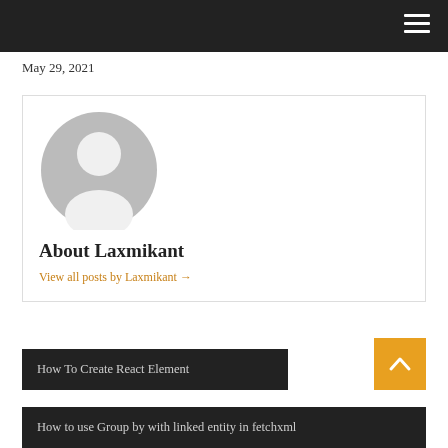May 29, 2021
[Figure (illustration): Generic user avatar: gray circle with white silhouette of a person (head and shoulders)]
About Laxmikant
View all posts by Laxmikant →
How To Create React Element
How to use Group by with linked entity in fetchxml